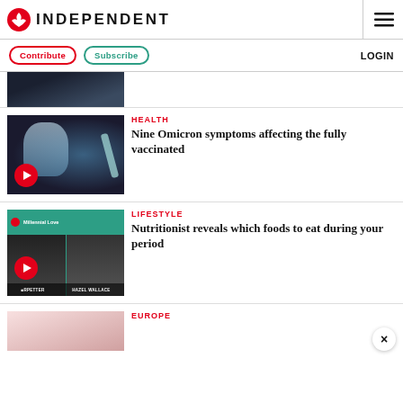INDEPENDENT
Contribute  Subscribe  LOGIN
[Figure (photo): Partially visible article thumbnail at top, cut off]
HEALTH
Nine Omicron symptoms affecting the fully vaccinated
[Figure (photo): Woman in mask holding vaccine syringe, video thumbnail with play button]
LIFESTYLE
Nutritionist reveals which foods to eat during your period
[Figure (photo): Millennial Love video thumbnail with two women, HAZEL WALLACE text]
EUROPE
[Figure (photo): Partial thumbnail at bottom, cut off]